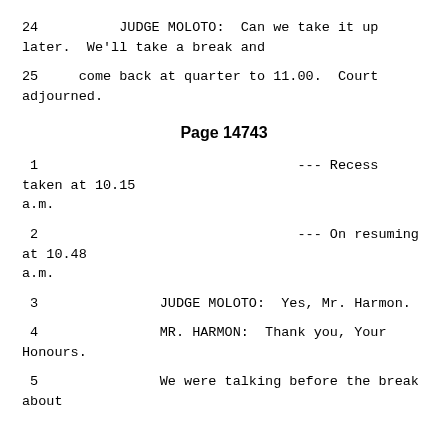24          JUDGE MOLOTO:  Can we take it up later.  We'll take a break and
25     come back at quarter to 11.00.  Court adjourned.
Page 14743
1                       --- Recess taken at 10.15 a.m.
2                       --- On resuming at 10.48 a.m.
3               JUDGE MOLOTO:  Yes, Mr. Harmon.
4               MR. HARMON:  Thank you, Your Honours.
5               We were talking before the break about